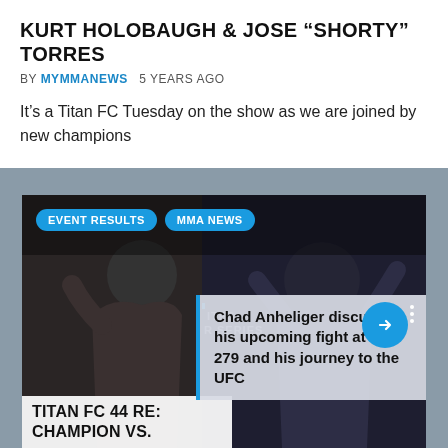KURT HOLOBAUGH & JOSE "SHORTY" TORRES
BY MYMMANEWS   5 YEARS AGO
It's a Titan FC Tuesday on the show as we are joined by new champions
[Figure (photo): MMA fighters photo collage with two fighters: one giving thumbs up, another with arms raised. Tags: EVENT RESULTS, MMA NEWS. Overlapping secondary article about Chad Anheliger at UFC 279.]
Chad Anheliger discusses his upcoming fight at UFC 279 and his journey to the UFC
TITAN FC 44 RE: CHAMPION VS.